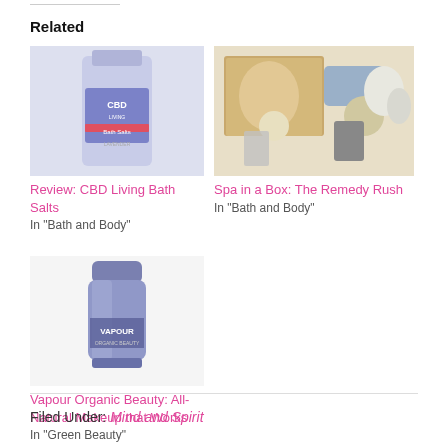Related
[Figure (photo): CBD Living Bath Salts lavender product bottle]
Review: CBD Living Bath Salts
In "Bath and Body"
[Figure (photo): Spa in a Box: The Remedy Rush - assorted spa products in a box]
Spa in a Box: The Remedy Rush
In "Bath and Body"
[Figure (photo): Vapour Organic Beauty makeup stick product]
Vapour Organic Beauty: All-Natural Makeup that Works
In "Green Beauty"
Filed Under: Mind and Spirit